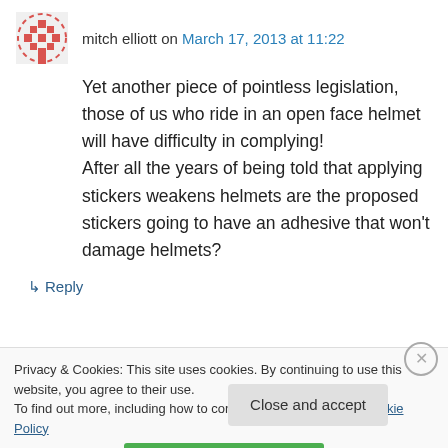mitch elliott on March 17, 2013 at 11:22
Yet another piece of pointless legislation, those of us who ride in an open face helmet will have difficulty in complying! After all the years of being told that applying stickers weakens helmets are the proposed stickers going to have an adhesive that won't damage helmets?
↳ Reply
Privacy & Cookies: This site uses cookies. By continuing to use this website, you agree to their use. To find out more, including how to control cookies, see here: Cookie Policy